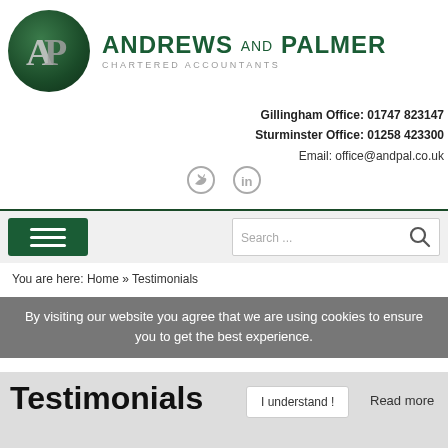[Figure (logo): Andrews and Palmer Chartered Accountants logo with dark green circle containing AP monogram and firm name text]
Gillingham Office: 01747 823147
Sturminster Office: 01258 423300
Email: office@andpal.co.uk
[Figure (illustration): Twitter and LinkedIn social media icons in grey]
Search ...
You are here: Home » Testimonials
By visiting our website you agree that we are using cookies to ensure you to get the best experience.
Testimonials
I understand !
Read more